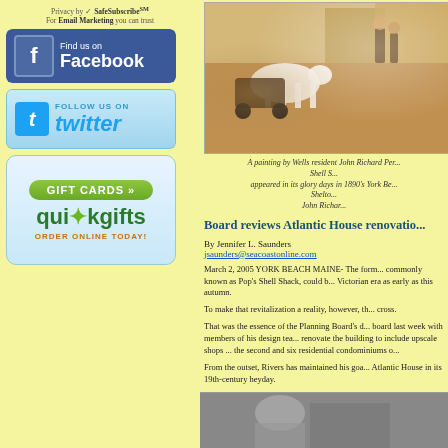Privacy by SafeSubscribe℠
For Email Marketing you can trust
[Figure (logo): Find us on Facebook button - blue background with f icon]
[Figure (logo): Follow us on Twitter button - light blue background with Twitter bird icon]
[Figure (logo): Gift Cards - quickgifts Order Online Today button]
[Figure (photo): A painting showing 1890s York Beach scene with horse, carriage, and figures]
A painting by Wells resident John Richard Per...
Shell S...
appeared in its glory days in 1890's York Be...
Shelto...
John Richar...
Board reviews Atlantic House renovatio...
By Jennifer L. Saunders
jsaunders@seacoastonline.com
March 2, 2005 YORK BEACH MAINE- The form... commonly known as Pop's Shell Shack, could b... Victorian era as early as this autumn.
To make that revitalization a reality, however, th... cross.
That was the essence of the Planning Board's d... board last week with members of his design tea... renovate the building to include upscale shops ... the second and six residential condominiums o...
From the outset, Rivers has maintained his goa... Atlantic House in its 19th-century heyday.
[Figure (photo): Partial photo at bottom of page - person in gray/dark tones]